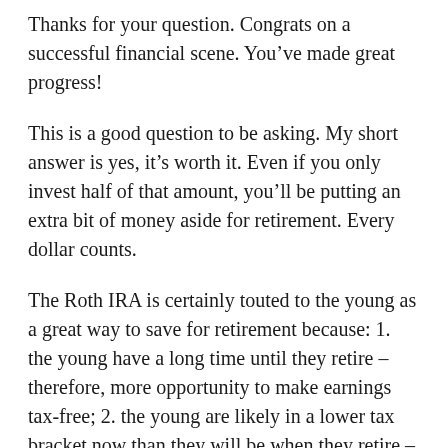Thanks for your question. Congrats on a successful financial scene. You’ve made great progress!
This is a good question to be asking. My short answer is yes, it’s worth it. Even if you only invest half of that amount, you’ll be putting an extra bit of money aside for retirement. Every dollar counts.
The Roth IRA is certainly touted to the young as a great way to save for retirement because: 1. the young have a long time until they retire – therefore, more opportunity to make earnings tax-free; 2. the young are likely in a lower tax bracket now than they will be when they retire – again, saving tax dollars on the back-end.